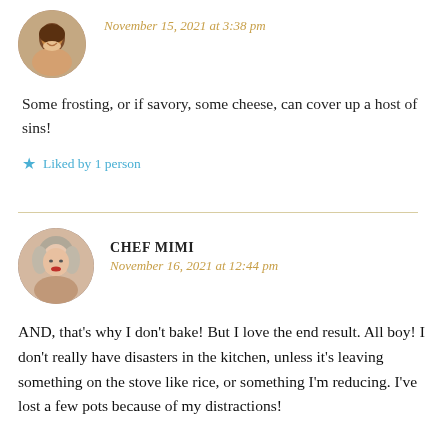November 15, 2021 at 3:38 pm
Some frosting, or if savory, some cheese, can cover up a host of sins!
Liked by 1 person
CHEF MIMI
November 16, 2021 at 12:44 pm
AND, that's why I don't bake! But I love the end result. All boy! I don't really have disasters in the kitchen, unless it's leaving something on the stove like rice, or something I'm reducing. I've lost a few pots because of my distractions!